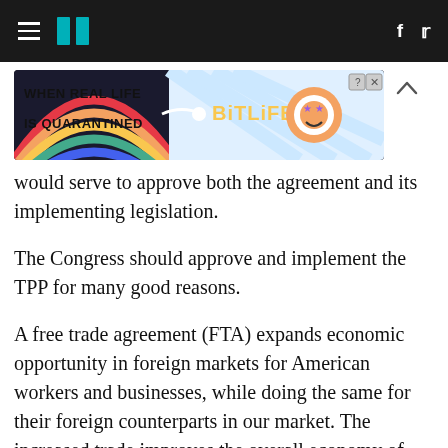HuffPost navigation header with hamburger menu, logo, Facebook and Twitter icons
[Figure (infographic): BitLife mobile game advertisement banner with rainbow, mascot character, and text 'WHEN REAL LIFE IS QUARANTINED' and 'BitLife']
would serve to approve both the agreement and its implementing legislation.
The Congress should approve and implement the TPP for many good reasons.
A free trade agreement (FTA) expands economic opportunity in foreign markets for American workers and businesses, while doing the same for their foreign counterparts in our market. The increased trade improves the overall economy of each country. But, in order to avoid unwanted side effects, a good FTA also...